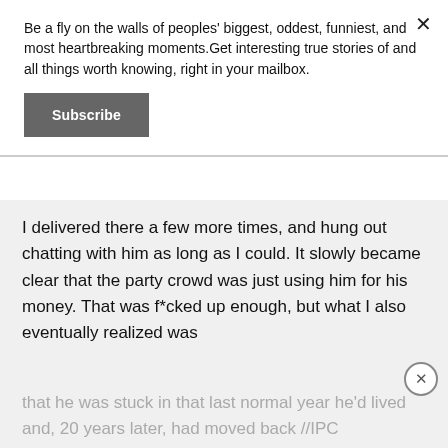Be a fly on the walls of peoples' biggest, oddest, funniest, and most heartbreaking moments.Get interesting true stories of and all things worth knowing, right in your mailbox.
Subscribe
I delivered there a few more times, and hung out chatting with him as long as I could. It slowly became clear that the party crowd was just using him for his money. That was f*cked up enough, but what I also eventually realized was
that he was stuck in that last normal year he'd lived and, 20 years later, had moved back //IPC